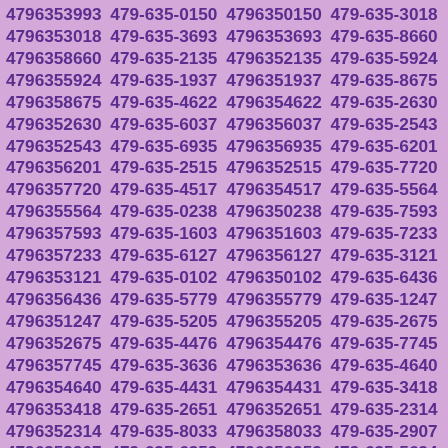4796353993 479-635-0150 4796350150 479-635-3018 4796353018 479-635-3693 4796353693 479-635-8660 4796358660 479-635-2135 4796352135 479-635-5924 4796355924 479-635-1937 4796351937 479-635-8675 4796358675 479-635-4622 4796354622 479-635-2630 4796352630 479-635-6037 4796356037 479-635-2543 4796352543 479-635-6935 4796356935 479-635-6201 4796356201 479-635-2515 4796352515 479-635-7720 4796357720 479-635-4517 4796354517 479-635-5564 4796355564 479-635-0238 4796350238 479-635-7593 4796357593 479-635-1603 4796351603 479-635-7233 4796357233 479-635-6127 4796356127 479-635-3121 4796353121 479-635-0102 4796350102 479-635-6436 4796356436 479-635-5779 4796355779 479-635-1247 4796351247 479-635-5205 4796355205 479-635-2675 4796352675 479-635-4476 4796354476 479-635-7745 4796357745 479-635-3636 4796353636 479-635-4640 4796354640 479-635-4431 4796354431 479-635-3418 4796353418 479-635-2651 4796352651 479-635-2314 4796352314 479-635-8033 4796358033 479-635-2907 4796352907 479-635-6352 4796356352 479-635-5694